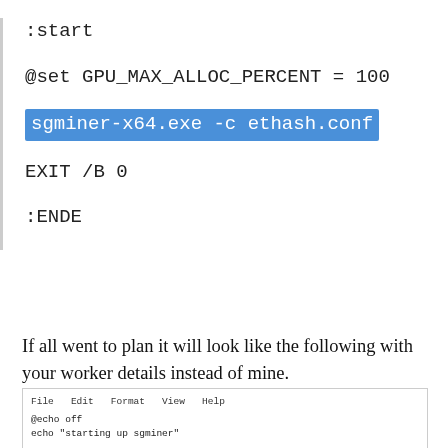:start

@set GPU_MAX_ALLOC_PERCENT = 100

sgminer-x64.exe -c ethash.conf

EXIT /B 0

:ENDE
If all went to plan it will look like the following with your worker details instead of mine.
[Figure (screenshot): Screenshot of a Notepad window showing a batch script with commands: @echo off, echo "starting up sgminer", @setx GPU_FORCE_64BIT_PTR 0, @setx GPU_MAX_HEAP_SIZE 100, @setx GPU_USE_SYNC_OBJECTS 1, @setx GPU_SINGLE_ALLOC_PERCENT 100, Call :start, pause]